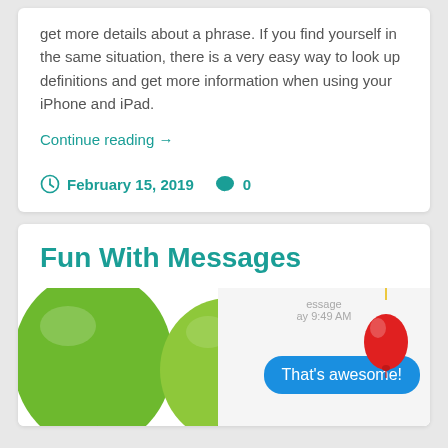get more details about a phrase. If you find yourself in the same situation, there is a very easy way to look up definitions and get more information when using your iPhone and iPad.
Continue reading →
February 15, 2019  0
Fun With Messages
[Figure (screenshot): Screenshot of iOS Messages app showing green balloons in the background and a blue message bubble reading 'That's awesome!' with a red balloon on the right side. Header shows 'essage' and 'ay 9:49 AM'.]